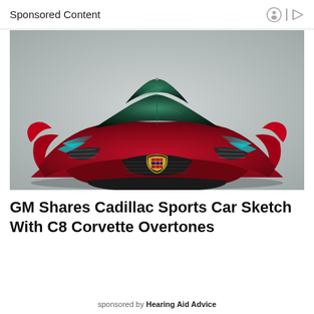Sponsored Content
[Figure (photo): Front-facing concept render of a dark red and green Cadillac sports car with aggressive styling and C8 Corvette-like proportions, shown against a light grey studio background.]
GM Shares Cadillac Sports Car Sketch With C8 Corvette Overtones
sponsored by Hearing Aid Advice